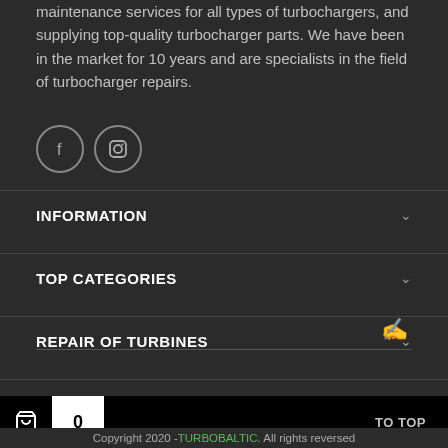maintenance services for all types of turbochargers, and supplying top-quality turbocharger parts. We have been in the market for 10 years and are specialists in the field of turbocharger repairs.
[Figure (illustration): Two circular social media icons: Facebook (f) and Instagram (camera)]
INFORMATION
TOP CATEGORIES
REPAIR OF TURBINES
FOR CUSTOMERS
TO TOP  Copyright 2020 - TURBOBALTIC. All rights reversed